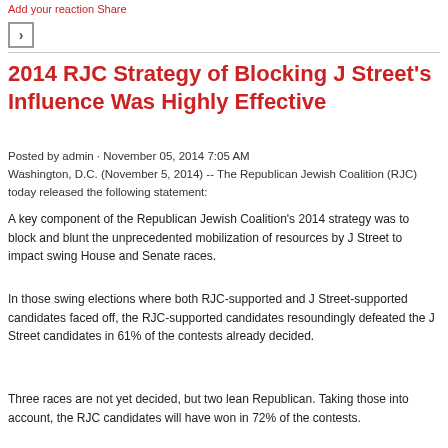Add your reaction Share
2014 RJC Strategy of Blocking J Street's Influence Was Highly Effective
Posted by admin · November 05, 2014 7:05 AM
Washington, D.C. (November 5, 2014) -- The Republican Jewish Coalition (RJC) today released the following statement:
A key component of the Republican Jewish Coalition's 2014 strategy was to block and blunt the unprecedented mobilization of resources by J Street to impact swing House and Senate races.
In those swing elections where both RJC-supported and J Street-supported candidates faced off, the RJC-supported candidates resoundingly defeated the J Street candidates in 61% of the contests already decided.
Three races are not yet decided, but two lean Republican. Taking those into account, the RJC candidates will have won in 72% of the contests.